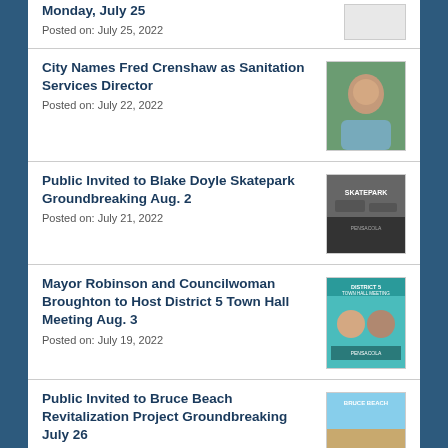Monday, July 25
Posted on: July 25, 2022
City Names Fred Crenshaw as Sanitation Services Director
Posted on: July 22, 2022
[Figure (photo): Portrait photo of Fred Crenshaw outdoors]
Public Invited to Blake Doyle Skatepark Groundbreaking Aug. 2
Posted on: July 21, 2022
[Figure (photo): Blake Doyle Skatepark promotional image with text SKATEPARK and PENSACOLA]
Mayor Robinson and Councilwoman Broughton to Host District 5 Town Hall Meeting Aug. 3
Posted on: July 19, 2022
[Figure (photo): District 5 Town Hall Meeting promotional image showing Mayor Robinson and Councilwoman Broughton with PENSACOLA branding]
Public Invited to Bruce Beach Revitalization Project Groundbreaking July 26
Posted on: July 18, 2022
[Figure (photo): Bruce Beach aerial/landscape photo with PENSACOLA branding]